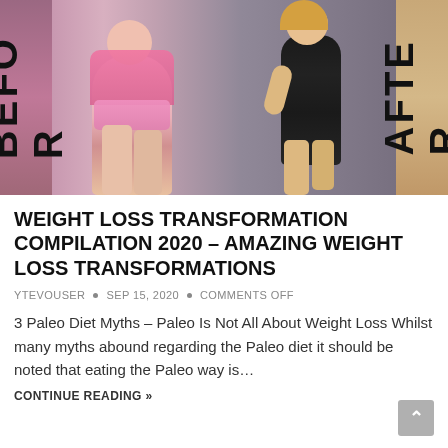[Figure (photo): Before and after weight loss transformation side-by-side photo with BEFORE text on left panel and AFTER text on right panel]
WEIGHT LOSS TRANSFORMATION COMPILATION 2020 – AMAZING WEIGHT LOSS TRANSFORMATIONS
YTEVOUSER • SEP 15, 2020 • COMMENTS OFF
3 Paleo Diet Myths – Paleo Is Not All About Weight Loss Whilst many myths abound regarding the Paleo diet it should be noted that eating the Paleo way is…
CONTINUE READING »